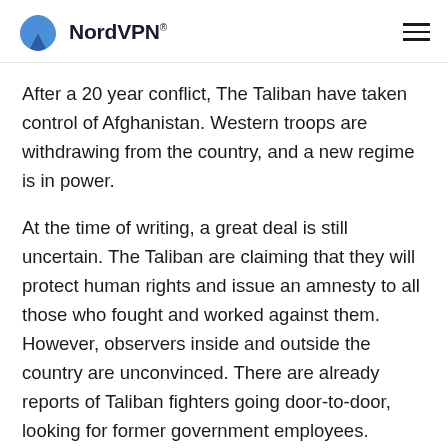NordVPN®
After a 20 year conflict, The Taliban have taken control of Afghanistan. Western troops are withdrawing from the country, and a new regime is in power.
At the time of writing, a great deal is still uncertain. The Taliban are claiming that they will protect human rights and issue an amnesty to all those who fought and worked against them. However, observers inside and outside the country are unconvinced. There are already reports of Taliban fighters going door-to-door, looking for former government employees.
Many things have changed since the last time the